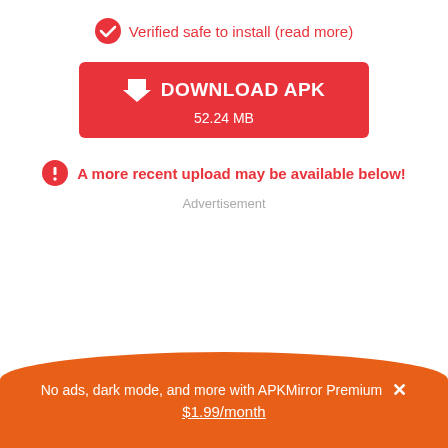Verified safe to install (read more)
DOWNLOAD APK
52.24 MB
A more recent upload may be available below!
Advertisement
No ads, dark mode, and more with APKMirror Premium × $1.99/month